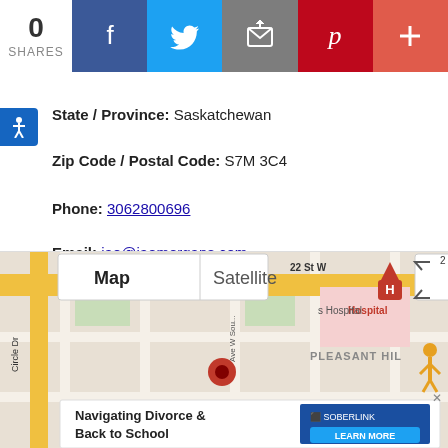[Figure (screenshot): Social sharing bar with 0 shares count and buttons for Facebook, Twitter, Email, Pinterest, and a plus button]
State / Province: Saskatchewan
Zip Code / Postal Code: S7M 3C4
Phone: 3062800696
Email: jae@jaemorgans.com
[Figure (map): Google Maps view showing 22 St W area with Pleasant Hill neighborhood, hospital marker, a red location pin, and a Soberlink advertisement overlay reading 'Navigating Divorce & Back to School'. Map and Satellite toggle buttons visible.]